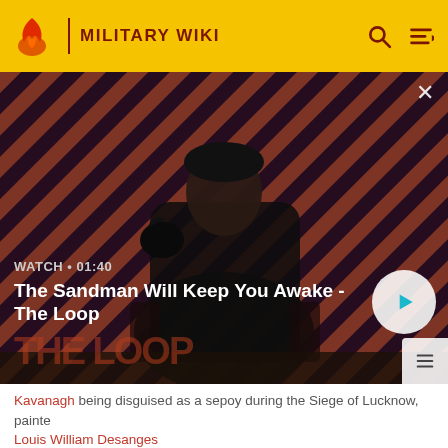MILITARY WIKI
[Figure (screenshot): Video thumbnail showing a dark-cloaked figure with a raven on shoulder against a red and dark striped background. Text overlay: WATCH · 01:40 / The Sandman Will Keep You Awake - The Loop. Play button on right.]
Kavanagh being disguised as a sepoy during the Siege of Lucknow, painte Louis William Desanges
The defenders were able to send messengers to and from the Alambagh, from where in turn messengers could